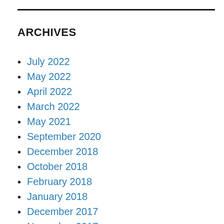ARCHIVES
July 2022
May 2022
April 2022
March 2022
May 2021
September 2020
December 2018
October 2018
February 2018
January 2018
December 2017
November 2017
October 2017